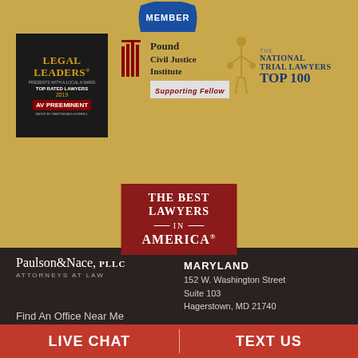[Figure (logo): Member badge - circular blue badge with MEMBER text]
[Figure (logo): Legal Leaders Top Rated Lawyers 2019 AV Preeminent badge - black background with gold text]
[Figure (logo): Pound Civil Justice Institute Supporting Fellow logo with red columns]
[Figure (logo): The National Trial Lawyers Top 100 logo with gold statue]
[Figure (logo): The Best Lawyers in America red badge logo]
Paulson & Nace, PLLC ATTORNEYS AT LAW
MARYLAND
152 W. Washington Street
Suite 103
Hagerstown, MD 21740
Find An Office Near Me
LIVE CHAT
TEXT US